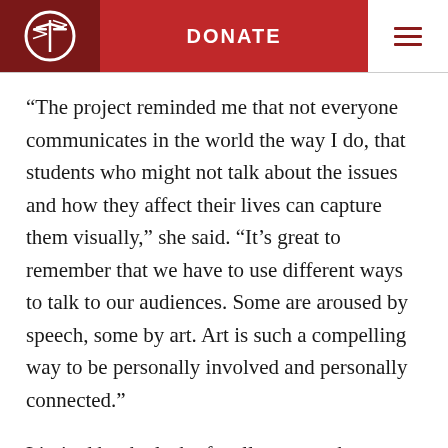DONATE
“The project reminded me that not everyone communicates in the world the way I do, that students who might not talk about the issues and how they affect their lives can capture them visually,” she said. “It’s great to remember that we have to use different ways to talk to our audiences. Some are aroused by speech, some by art. Art is such a compelling way to be personally involved and personally connected.”
Limited by the lack of wall space at the Montgomery office’s largely glass headquarters, Huang now